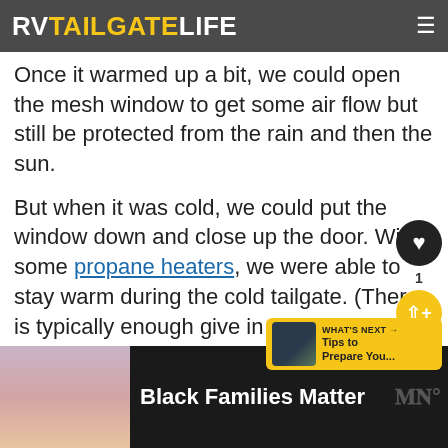RVTAILGATELIFE
Once it warmed up a bit, we could open the mesh window to get some air flow but still be protected from the rain and then the sun.
But when it was cold, we could put the window down and close up the door. With some propane heaters, we were able to stay warm during the cold tailgate. (There is typically enough give in the tent system that there was fresh air circulating to prevent any problems with carbon monoxide but it is always something to be concerned about when using a propane heater in any kind of enclosed space.)
[Figure (other): WHAT'S NEXT banner with thumbnail image, label 'WHAT'S NEXT →' and text 'Tips to Prepare You...']
[Figure (other): Advertisement bar at bottom showing people and text 'Black Families Matter' with close button and logo]